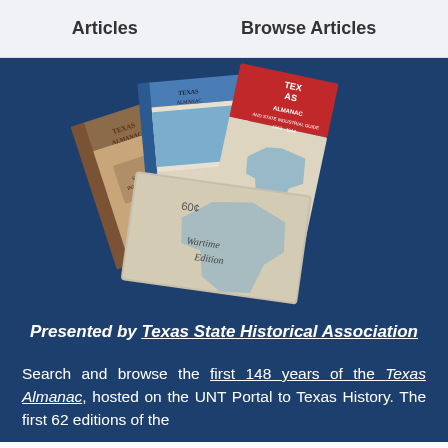Articles   Browse Articles
[Figure (photo): Three historic Texas Almanac books arranged on a dark blue background. Books include editions with red and white covers labeled 'Texas Almanac and State Industrial Guide 1943-1944', a blue-spined edition, and a wartime edition with cursive text 'Wartime Edition' and price '60¢'.]
Presented by Texas State Historical Association
Search and browse the first 148 years of the Texas Almanac, hosted on the UNT Portal to Texas History. The first 62 editions of the